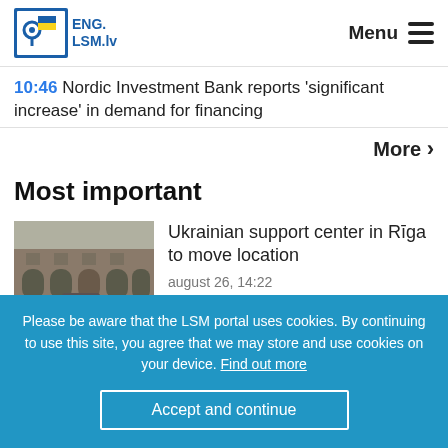ENG. LSM.lv  Menu
10:46 Nordic Investment Bank reports 'significant increase' in demand for financing
More >
Most important
[Figure (photo): Photo of a building facade in Riga, old architecture with arched doorways]
Ukrainian support center in Rīga to move location
auguest 26, 14:22
[Figure (photo): Partial photo, partially obscured by cookie banner]
Vaccination against Covid will be
Please be aware that the LSM portal uses cookies. By continuing to use this site, you agree that we may store and use cookies on your device. Find out more
Accept and continue